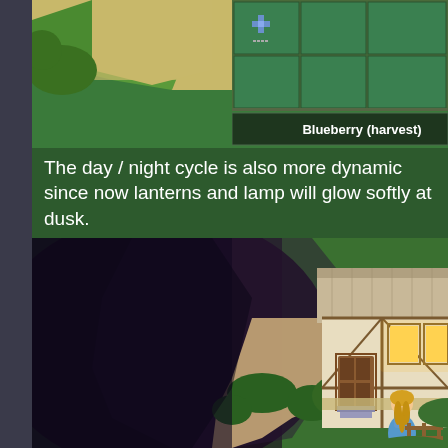[Figure (screenshot): Top-down RPG game screenshot showing a farm field with blueberry plants ready to harvest and a UI label reading 'Blueberry (harvest)' in the top-right corner.]
The day / night cycle is also more dynamic since now lanterns and lamp will glow softly at dusk.
[Figure (screenshot): RPG game screenshot showing a dusk/night scene with a building glowing with warm yellow windows, a female character standing outside, and a dark shadow/night effect covering part of the scene.]